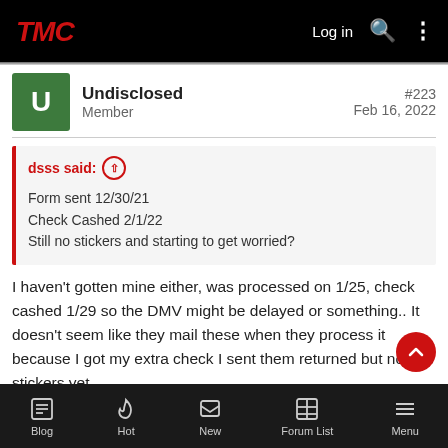TMC  Log in
Undisclosed
Member
#223
Feb 16, 2022
dsss said:
Form sent 12/30/21
Check Cashed 2/1/22
Still no stickers and starting to get worried?
I haven't gotten mine either, was processed on 1/25, check cashed 1/29 so the DMV might be delayed or something.. It doesn't seem like they mail these when they process it because I got my extra check I sent them returned but not the stickers yet.
Blog  Hot  New  Forum List  Menu